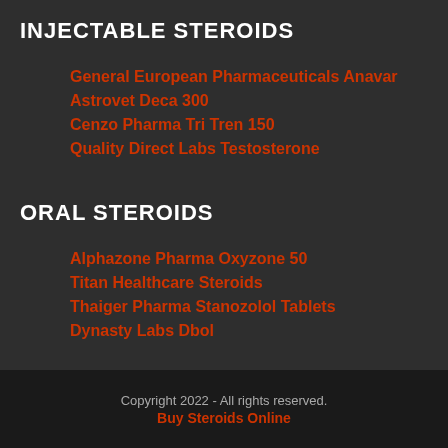INJECTABLE STEROIDS
General European Pharmaceuticals Anavar
Astrovet Deca 300
Cenzo Pharma Tri Tren 150
Quality Direct Labs Testosterone
ORAL STEROIDS
Alphazone Pharma Oxyzone 50
Titan Healthcare Steroids
Thaiger Pharma Stanozolol Tablets
Dynasty Labs Dbol
Copyright 2022 - All rights reserved.
Buy Steroids Online